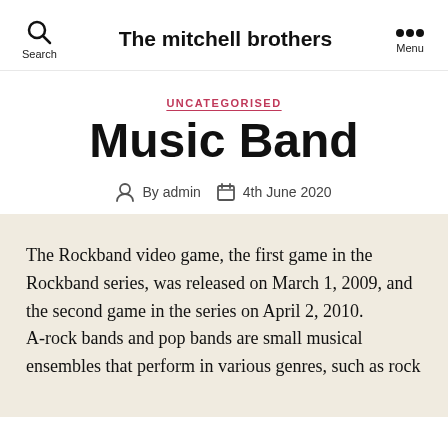The mitchell brothers
UNCATEGORISED
Music Band
By admin   4th June 2020
The Rockband video game, the first game in the Rockband series, was released on March 1, 2009, and the second game in the series on April 2, 2010. A-rock bands and pop bands are small musical ensembles that perform in various genres, such as rock